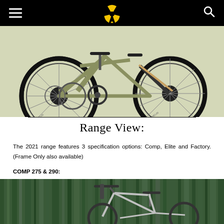Navigation header with hamburger menu, radioactive symbol logo, and search icon
[Figure (photo): Mountain bike (olive/green color) with full suspension, DT Swiss wheels and Michelin tires, shown from the side against white background]
Range View:
The 2021 range features 3 specification options: Comp, Elite and Factory. (Frame Only also available)
COMP 275 & 290:
[Figure (photo): Mountain bike (light/white color) photographed in front of a blurred green forest background]